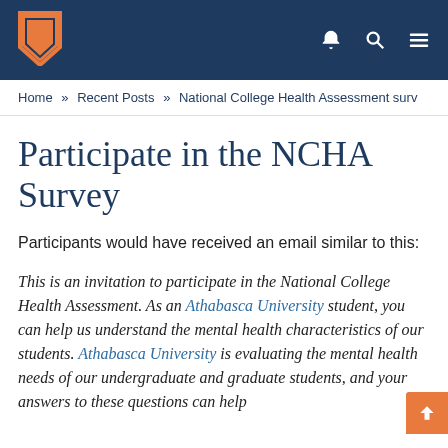Athabasca University navigation bar with logo, bell icon, search icon, and menu icon
Home » Recent Posts » National College Health Assessment surv
Participate in the NCHA Survey
Participants would have received an email similar to this:
This is an invitation to participate in the National College Health Assessment. As an Athabasca University student, you can help us understand the mental health characteristics of our students. Athabasca University is evaluating the mental health needs of our undergraduate and graduate students, and your answers to these questions can help